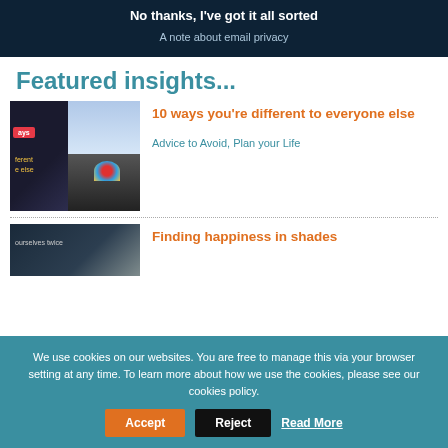No thanks, I've got it all sorted
A note about email privacy
Featured insights...
[Figure (photo): Composite image: dark overlay with a red badge and yellow text on the left, blue sky and black umbrellas with a colorful umbrella on the right]
10 ways you're different to everyone else
Advice to Avoid, Plan your Life
[Figure (photo): Dark blue/grey toned image with text label 'ourselves twice']
Finding happiness in shades
We use cookies on our websites. You are free to manage this via your browser setting at any time. To learn more about how we use the cookies, please see our cookies policy.
Accept
Reject
Read More